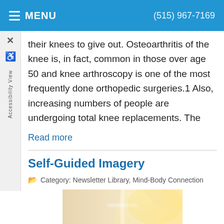MENU  (515) 967-7169
their knees to give out. Osteoarthritis of the knee is, in fact, common in those over age 50 and knee arthroscopy is one of the most frequently done orthopedic surgeries.1 Also, increasing numbers of people are undergoing total knee replacements. The
Read more
Self-Guided Imagery
Category: Newsletter Library, Mind-Body Connection
[Figure (photo): Man lying on a bed or surface, relaxing with eyes closed and hands behind head, wearing a light shirt and khaki pants, with warm sunlight in background]